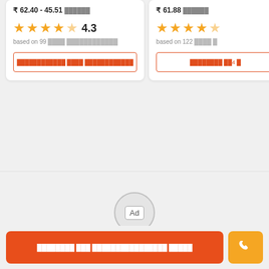₹ 62.40 - 45.51 ██████
★★★★½ 4.3
based on 99 ████ ████████████
███████████ ████ ████████████
₹ 61.88 ██████
★★★★½
based on 122 ████ █
████████ ██4 █
[Figure (other): Gray loading/ad area with circular Ad badge]
████████ ███ ████████████████ █████
[Figure (other): Orange phone call button]